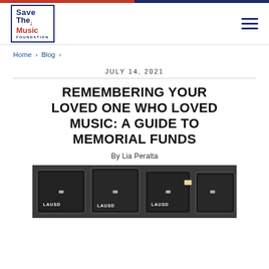Save The Music Foundation
Home › Blog ›
JULY 14, 2021
REMEMBERING YOUR LOVED ONE WHO LOVED MUSIC: A GUIDE TO MEMORIAL FUNDS
By Lia Peralta
[Figure (photo): Black instrument cases labeled LAUSD stacked together]